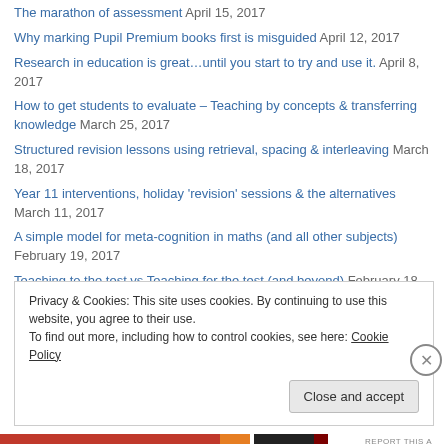The marathon of assessment April 15, 2017
Why marking Pupil Premium books first is misguided April 12, 2017
Research in education is great…until you start to try and use it. April 8, 2017
How to get students to evaluate – Teaching by concepts & transferring knowledge March 25, 2017
Structured revision lessons using retrieval, spacing & interleaving March 18, 2017
Year 11 interventions, holiday 'revision' sessions & the alternatives March 11, 2017
A simple model for meta-cognition in maths (and all other subjects) February 19, 2017
Teaching to the test vs Teaching for the test (and beyond) February 18,
Privacy & Cookies: This site uses cookies. By continuing to use this website, you agree to their use. To find out more, including how to control cookies, see here: Cookie Policy
REPORT THIS A